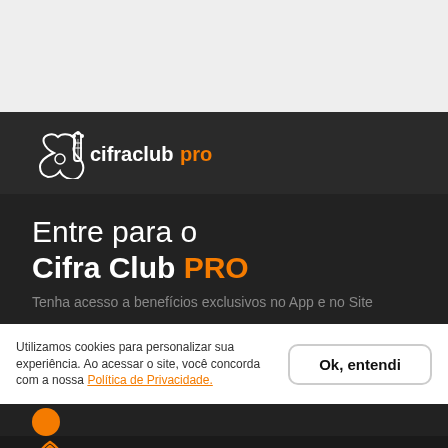[Figure (logo): Gray top bar area (browser chrome)]
[Figure (logo): Cifra Club PRO logo — white guitar outline with 'cifraclub' in white and 'pro' in orange text on dark background]
Entre para o Cifra Club PRO
Tenha acesso a benefícios exclusivos no App e no Site
Utilizamos cookies para personalizar sua experiência. Ao acessar o site, você concorda com a nossa Política de Privacidade.
Ok, entendi
[Figure (illustration): Orange circle partially visible at bottom of dark section]
[Figure (illustration): Orange wifi/sound icon with text 'Mais recursos no app do afinador' partially visible]